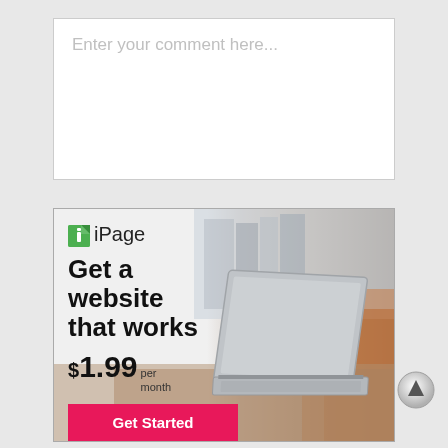Enter your comment here...
[Figure (infographic): iPage advertisement banner. Green document icon followed by 'iPage' logo text. Headline: 'Get a website that works'. Price: '$1.99 per month'. Pink 'Get Started' button. Background shows a blurred photo of an open laptop on a wooden desk with bookshelves behind.]
[Figure (illustration): Circular scroll-to-top button with an upward-pointing triangle/arrow inside.]